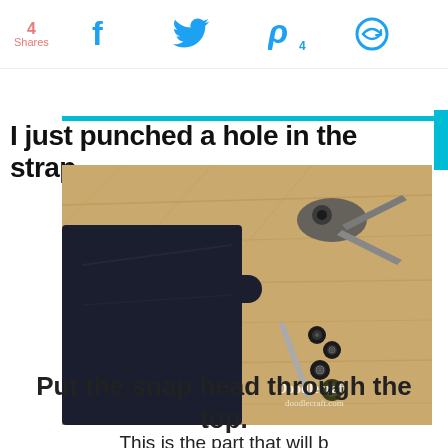4 Shares | [Facebook] [Twitter] [Pinterest 4] [Email]
I just punched a hole in the strap.
[Figure (photo): Overhead photo on a wooden surface showing a dark navy fabric bag with a strap, a hole-punch plier tool, a metal rod, and several snap fastener components scattered on the wood. Watermark reads Doodlecraft.]
Put the snap head through the top.
This is the part that will b...